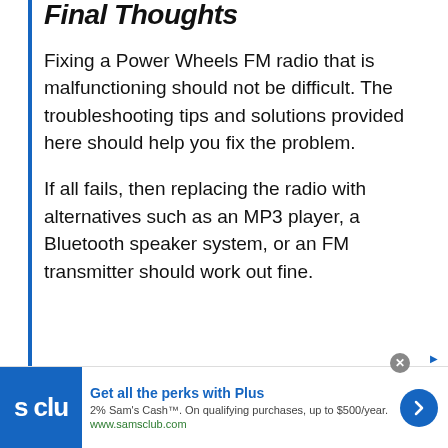Final Thoughts
Fixing a Power Wheels FM radio that is malfunctioning should not be difficult. The troubleshooting tips and solutions provided here should help you fix the problem.
If all fails, then replacing the radio with alternatives such as an MP3 player, a Bluetooth speaker system, or an FM transmitter should work out fine.
[Figure (other): Advertisement banner for Sam's Club Plus membership: logo on left, 'Get all the perks with Plus' headline, '2% Sam's Cash™. On qualifying purchases, up to $500/year.' text, www.samsclub.com URL, blue arrow button on right.]